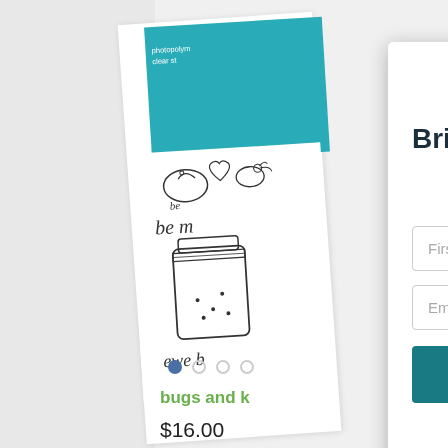[Figure (screenshot): Lawn Fawn craft stamp product page with email signup modal overlay. The modal shows the Lawn Fawn logo (green badge with deer illustration), headline 'Brighten up your da[y]', subtitle 'Sign up to have happiness delivered to your inbox!', First Name input, Email Address input, and 'sign me up!' button. Behind the modal is a product image of 'bugs and k[isses]' clear stamp set priced at $16.00 with carousel dots.]
photopolymer clear s[tamp]
Brighten up your da[y]
Sign up to have happiness delivered to your inbox!
First Name
Email Address
sign me up!
bugs and k[isses]
$16.00